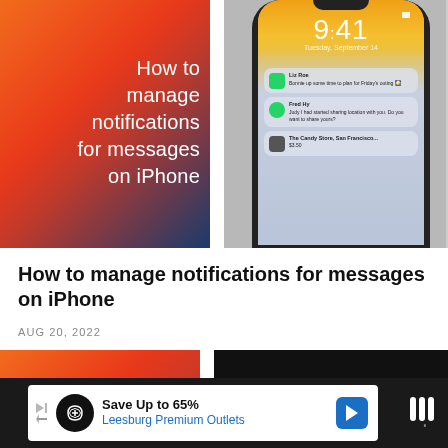[Figure (screenshot): Two images side by side: left shows an orange/red gradient background with white text 'How to manage notifications for messages on iPhone'; right shows an iPhone with lock screen displaying time 9:41, date Tuesday September 14, and notification cards.]
How to manage notifications for messages on iPhone
AUG 20, 2022
[Figure (screenshot): Bottom partial row showing two more images — a partial orange image on left and a dark screenshot on the right.]
[Figure (screenshot): Advertisement banner: Save Up to 65% Leesburg Premium Outlets]